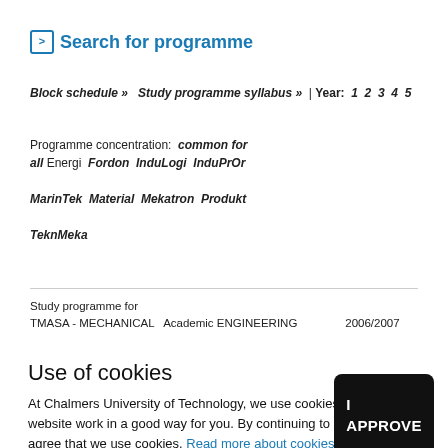Search for programme
Block schedule »  Study programme syllabus »  | Year:  1  2  3  4  5
Programme concentration:  common for all  Energi  Fordon  InduLogi  InduPrOr  MarinTek  Material  Mekatron  Produkt  TeknMeka
Study programme for TMASA - MECHANICAL  Academic ENGINEERING  2006/2007
Use of cookies
At Chalmers University of Technology, we use cookies to make the website work in a good way for you. By continuing to browse, you agree that we use cookies. Read more about cookies.